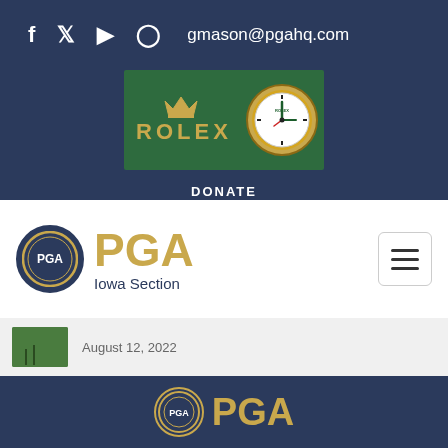f  𝕏  ▶  ⊙  gmason@pgahq.com
[Figure (logo): Rolex advertisement banner with green background, crown logo, ROLEX text in gold, and a Rolex clock face]
DONATE
LOGIN  |
[Figure (logo): PGA Iowa Section logo with circular seal and large gold PGA letters]
August 12, 2022
[Figure (logo): PGA logo circle seal and large PGA letters in gold on dark navy background footer]